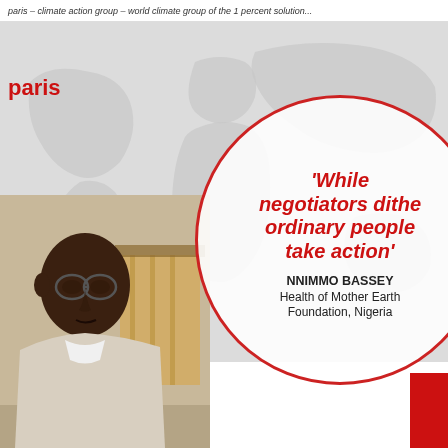paris – climate action group – world climate group of the 1 percent solution...
paris
[Figure (photo): Close-up photo of Nnimmo Bassey, a man wearing glasses, outdoors with a building in the background]
[Figure (infographic): Circular graphic with red border containing a quote in red italic bold text and attribution below]
'While negotiators dithe ordinary people take action'
NNIMMO BASSEY Health of Mother Earth Foundation, Nigeria